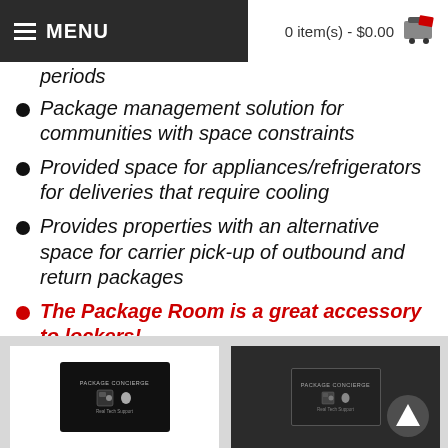MENU | 0 item(s) - $0.00
periods
Package management solution for communities with space constraints
Provided space for appliances/refrigerators  for deliveries that require cooling
Provides properties with an alternative space for carrier pick-up of outbound and return packages
The Package Room is a great accessory to lockers!
[Figure (photo): Two Package Concierge product panels side by side — one on white background, one on dark background]